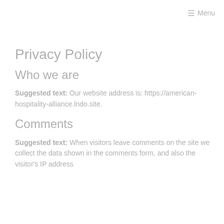Menu
Privacy Policy
Who we are
Suggested text: Our website address is: https://american-hospitality-alliance.lndo.site.
Comments
Suggested text: When visitors leave comments on the site we collect the data shown in the comments form, and also the visitor's IP address